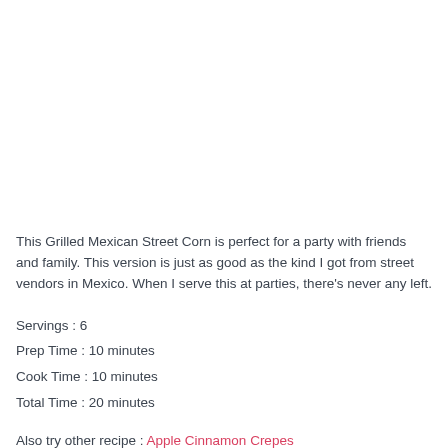This Grilled Mexican Street Corn is perfect for a party with friends and family. This version is just as good as the kind I got from street vendors in Mexico. When I serve this at parties, there's never any left.
Servings : 6
Prep Time : 10 minutes
Cook Time : 10 minutes
Total Time : 20 minutes
Also try other recipe : Apple Cinnamon Crepes